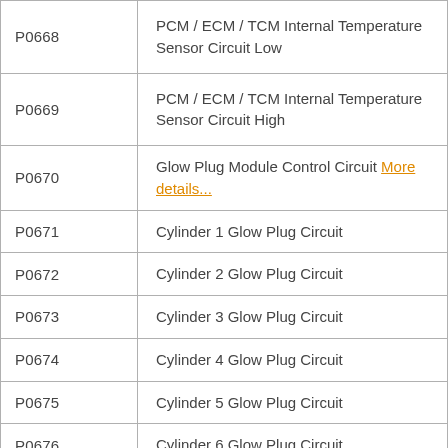| Code | Description |
| --- | --- |
| P0668 | PCM / ECM / TCM Internal Temperature Sensor Circuit Low |
| P0669 | PCM / ECM / TCM Internal Temperature Sensor Circuit High |
| P0670 | Glow Plug Module Control Circuit More details... |
| P0671 | Cylinder 1 Glow Plug Circuit |
| P0672 | Cylinder 2 Glow Plug Circuit |
| P0673 | Cylinder 3 Glow Plug Circuit |
| P0674 | Cylinder 4 Glow Plug Circuit |
| P0675 | Cylinder 5 Glow Plug Circuit |
| P0676 | Cylinder 6 Glow Plug Circuit |